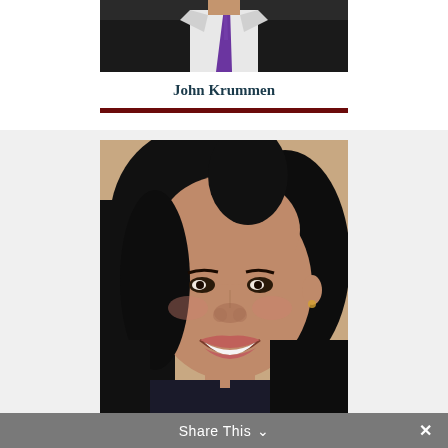[Figure (photo): Partial photo of a man in a dark suit with purple tie, cropped at the chin]
John Krummen
[Figure (photo): Professional headshot of a smiling woman with dark shoulder-length hair, wearing a dark jacket]
Share This ∨ ✕